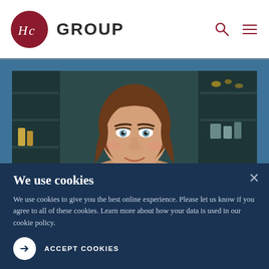HC GROUP
[Figure (photo): Portrait photo of a young woman with long brown hair and blue eyes, smiling, against a dark teal background with shelving]
We use cookies
We use cookies to give you the best online experience. Please let us know if you agree to all of these cookies. Learn more about how your data is used in our cookie policy.
ACCEPT COOKIES